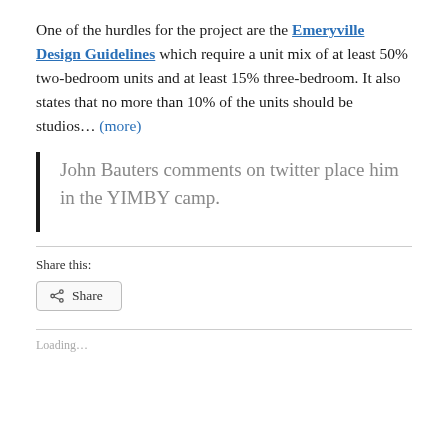One of the hurdles for the project are the Emeryville Design Guidelines which require a unit mix of at least 50% two-bedroom units and at least 15% three-bedroom. It also states that no more than 10% of the units should be studios… (more)
John Bauters comments on twitter place him in the YIMBY camp.
Share this:
Share
Loading…